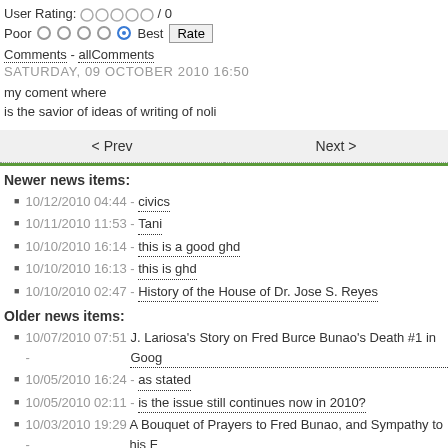User Rating: / 0
Poor Best Rate
Comments - allComments
SATURDAY, 09 OCTOBER 2010 16:50
my coment where
is the savior of ideas of writing of noli
< Prev    Next >
Newer news items:
10/12/2010 04:44 - civics
10/11/2010 11:53 - Tani
10/10/2010 16:14 - this is a good ghd
10/10/2010 16:13 - this is ghd
10/10/2010 02:47 - History of the House of Dr. Jose S. Reyes
Older news items:
10/07/2010 07:51 - J. Lariosa's Story on Fred Burce Bunao's Death #1 in Goog
10/05/2010 16:24 - as stated
10/05/2010 02:11 - is the issue still continues now in 2010?
10/03/2010 19:29 - A Bouquet of Prayers to Fred Bunao, and Sympathy to his F